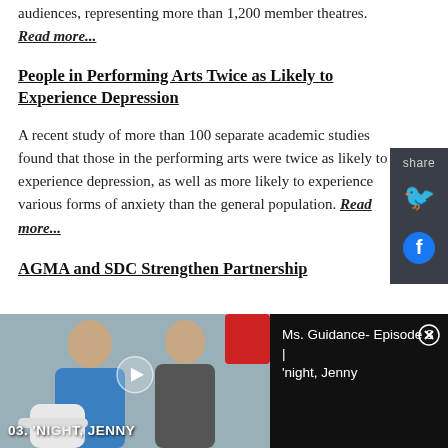audiences, representing more than 1,200 member theatres. Read more...
People in Performing Arts Twice as Likely to Experience Depression
A recent study of more than 100 separate academic studies found that those in the performing arts were twice as likely to experience depression, as well as more likely to experience various forms of anxiety than the general population. Read more...
AGMA and SDC Strengthen Partnership
[Figure (screenshot): Video thumbnail showing two men sitting, with overlay text '03. 'NIGHT, JENNY'. Adjacent video info panel shows title 'Ms. Guidance- Episode 3 | 'night, Jenny' on dark background with close button.]